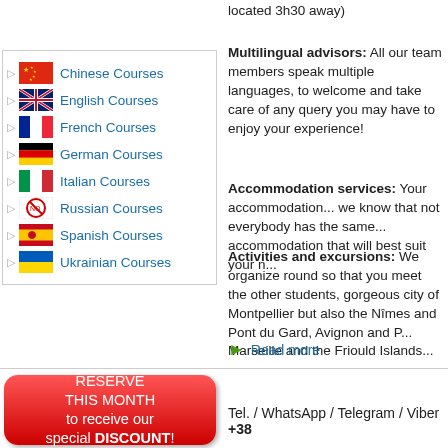located 3h30 away)
Multilingual advisors: All our team members speak multiple languages, to welcome and take care of any query you may have to enjoy your experience!
Chinese Courses
English Courses
French Courses
German Courses
Italian Courses
Russian Courses
Spanish Courses
Ukrainian Courses
Accommodation services: Your accommodation... we know that not everybody has the same... accommodation that will best suit your n...
Activities and excursions: We organize round so that you meet the other students, gorgeous city of Montpellier but also the Nîmes and Pont du Gard, Avignon and P... Marseille and the Friould Islands...
Read more
[Figure (other): Red button with white text: RESERVE THIS MONTH to receive our special DISCOUNT!]
Tel. / WhatsApp / Telegram / Viber +38